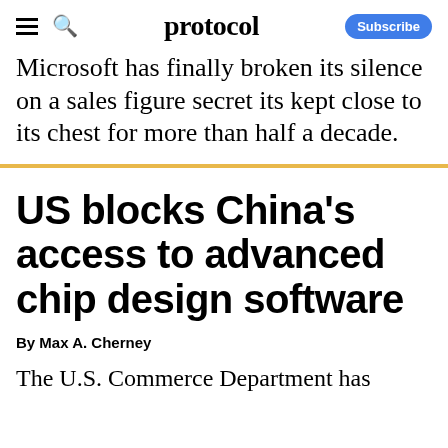protocol | Subscribe
Microsoft has finally broken its silence on a sales figure secret its kept close to its chest for more than half a decade.
US blocks China's access to advanced chip design software
By Max A. Cherney
The U.S. Commerce Department has